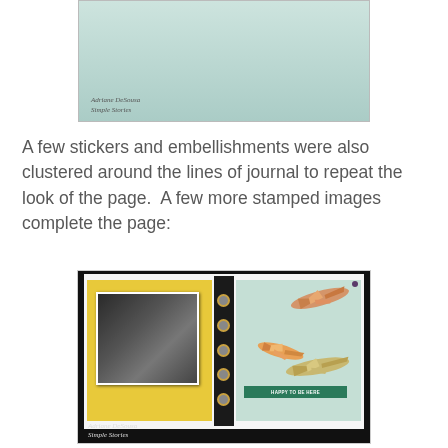[Figure (photo): Close-up photo of a journal or notebook cover, pale green/mint color, with a watermark reading 'Adriane DeSousa / Simple Stories']
A few stickers and embellishments were also clustered around the lines of journal to repeat the look of the page.  A few more stamped images complete the page:
[Figure (photo): Photo of an open mini journal/planner showing two pages — left page has yellow background with a black-and-white photo of people in an airport, right page has mint/aqua background with colorful airplane die-cuts and a banner reading 'HAPPY TO BE HERE'. Journal text is handwritten. Watermark reads 'Adriane DeSousa / Simple Stories']